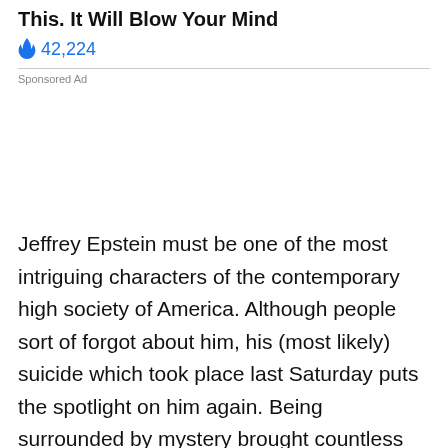This. It Will Blow Your Mind
🔥 42,224
Sponsored Ad
Jeffrey Epstein must be one of the most intriguing characters of the contemporary high society of America. Although people sort of forgot about him, his (most likely) suicide which took place last Saturday puts the spotlight on him again. Being surrounded by mystery brought countless speculations from the media and even his friends circle. The most popular? Donald Trump himself